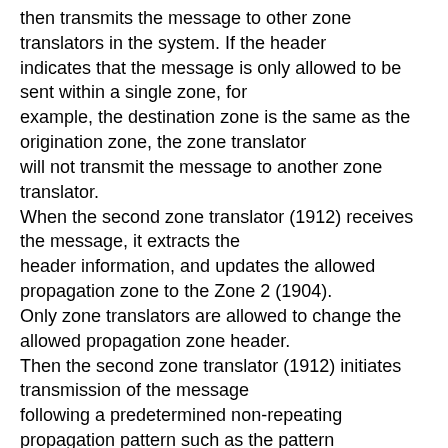then transmits the message to other zone translators in the system. If the header indicates that the message is only allowed to be sent within a single zone, for example, the destination zone is the same as the origination zone, the zone translator will not transmit the message to another zone translator. When the second zone translator (1912) receives the message, it extracts the header information, and updates the allowed propagation zone to the Zone 2 (1904). Only zone translators are allowed to change the allowed propagation zone header. Then the second zone translator (1912) initiates transmission of the message following a predetermined non-repeating propagation pattern such as the pattern previously describe in FIG. 12. If portable communication devices in Zone 2 (1904) receive the message from the first zone translator (1906), they will not transmit the message because the header information reveals that